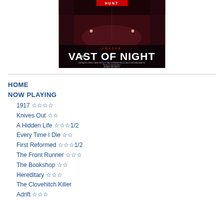[Figure (illustration): Movie poster for 'The Vast of Night' with dark red/purple tones showing an interior scene and bold white text]
HOME
NOW PLAYING
1917 ☆☆☆☆
Knives Out ☆☆
A Hidden Life ☆☆☆1/2
Every Time I Die ☆☆
First Reformed ☆☆☆1/2
The Front Runner ☆☆☆
The Bookshop ☆☆
Hereditary ☆☆☆
The Clovehitch Killer
Adrift ☆☆☆